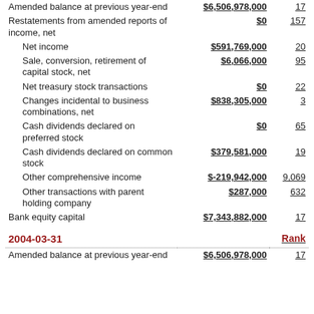|  | Amount | Rank |
| --- | --- | --- |
| Amended balance at previous year-end | $6,506,978,000 | 17 |
| Restatements from amended reports of income, net | $0 | 157 |
| Net income | $591,769,000 | 20 |
| Sale, conversion, retirement of capital stock, net | $6,066,000 | 95 |
| Net treasury stock transactions | $0 | 22 |
| Changes incidental to business combinations, net | $838,305,000 | 3 |
| Cash dividends declared on preferred stock | $0 | 65 |
| Cash dividends declared on common stock | $379,581,000 | 19 |
| Other comprehensive income | $-219,942,000 | 9,069 |
| Other transactions with parent holding company | $287,000 | 632 |
| Bank equity capital | $7,343,882,000 | 17 |
| 2004-03-31 |  | Rank |
| Amended balance at previous year-end | $6,506,978,000 | 17 |